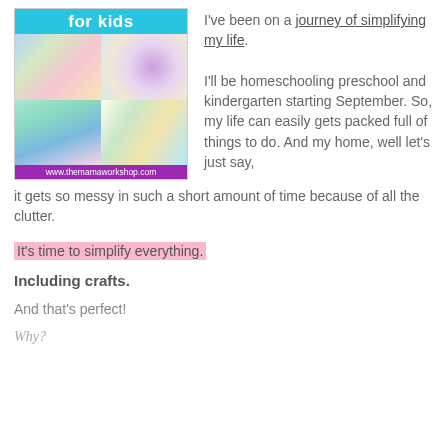[Figure (photo): Collage image block showing 'for kids' header in cyan, four craft project photos in a 2x2 grid (colorful crafts, peacock, tree crafts), and a purple footer with www.themamaworkshop.com]
I've been on a journey of simplifying my life.
I'll be homeschooling preschool and kindergarten starting September. So, my life can easily gets packed full of things to do. And my home, well let's just say, it gets so messy in such a short amount of time because of all the clutter.
It's time to simplify everything.
Including crafts.
And that's perfect!
Why?